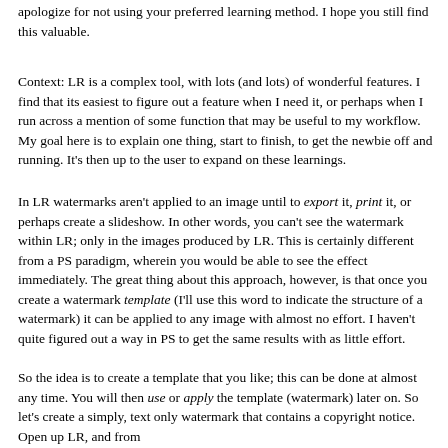apologize for not using your preferred learning method.  I hope you still find this valuable.
Context: LR is a complex tool, with lots (and lots) of wonderful features.  I find that its easiest to figure out a feature when I need it, or perhaps when I run across a mention of some function that may be useful to my workflow.  My goal here is to explain one thing, start to finish, to get the newbie off and running.  It's then up to the user to expand on these learnings.
In LR watermarks aren't applied to an image until to export it, print it, or perhaps create a slideshow.  In other words, you can't see the watermark within LR; only in the images produced by LR.  This is certainly different from a PS paradigm, wherein you would be able to see the effect immediately.  The great thing about this approach, however, is that once you create a watermark template (I'll use this word to indicate the structure of a watermark) it can be applied to any image with almost no effort.  I haven't quite figured out a way in PS to get the same results with as little effort.
So the idea is to create a template that you like; this can be done at almost any time.  You will then use or apply the template (watermark) later on.   So let's create a simply, text only watermark that contains a copyright notice.  Open up LR, and from